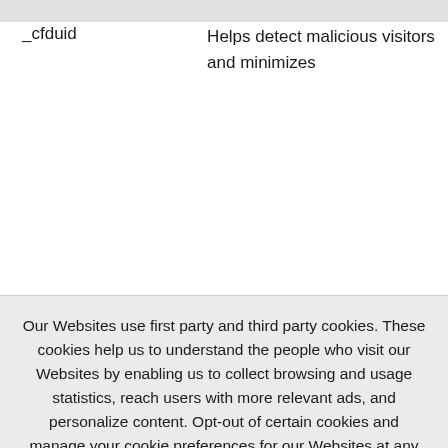| Name | Description |
| --- | --- |
| _cfduid | Helps detect malicious visitors and minimizes |
Our Websites use first party and third party cookies. These cookies help us to understand the people who visit our Websites by enabling us to collect browsing and usage statistics, reach users with more relevant ads, and personalize content. Opt-out of certain cookies and manage your cookie preferences for our Websites at any time via our Cookie Preferences tool.
Privacy Policy
OK